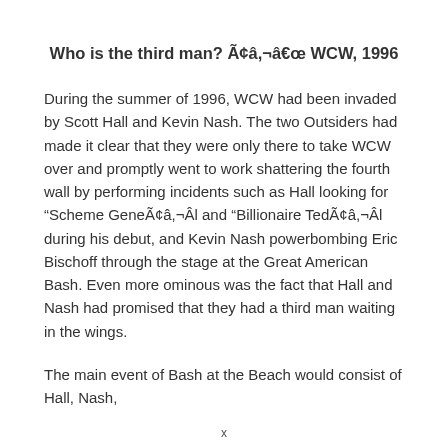Who is the third man? Ã¢â,¬â€œ WCW, 1996
During the summer of 1996, WCW had been invaded by Scott Hall and Kevin Nash. The two Outsiders had made it clear that they were only there to take WCW over and promptly went to work shattering the fourth wall by performing incidents such as Hall looking for “Scheme GeneÃ¢â,¬Âl and “Billionaire TedÃ¢â,¬Âl during his debut, and Kevin Nash powerbombing Eric Bischoff through the stage at the Great American Bash. Even more ominous was the fact that Hall and Nash had promised that they had a third man waiting in the wings.
The main event of Bash at the Beach would consist of Hall, Nash,